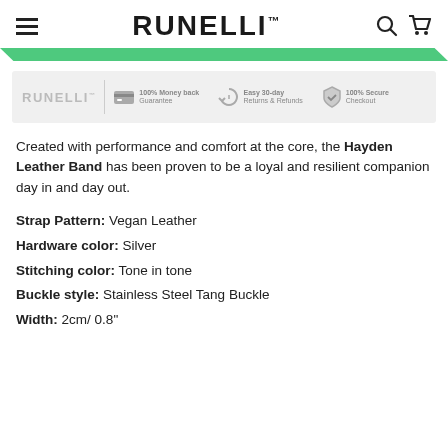RUNELLI
[Figure (illustration): Green diagonal banner/bar below the navigation header]
[Figure (infographic): Trust banner with Runelli logo, 100% Money back Guarantee, Easy 30-day Returns & Refunds, 100% Secure Checkout]
Created with performance and comfort at the core, the Hayden Leather Band has been proven to be a loyal and resilient companion day in and day out.
Strap Pattern: Vegan Leather
Hardware color: Silver
Stitching color: Tone in tone
Buckle style: Stainless Steel Tang Buckle
Width: 2cm/ 0.8"